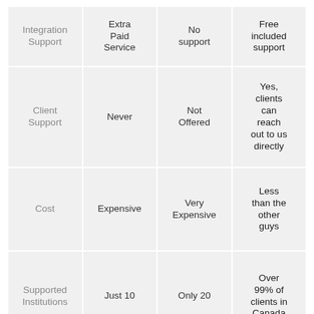|  | Extra Paid Service | No support | Free included support |
| --- | --- | --- | --- |
| Integration Support | Extra Paid Service | No support | Free included support |
| Client Support | Never | Not Offered | Yes, clients can reach out to us directly |
| Cost | Expensive | Very Expensive | Less than the other guys |
| Supported Institutions | Just 10 | Only 20 | Over 99% of clients in Canada |
API Access for all features are included in your account